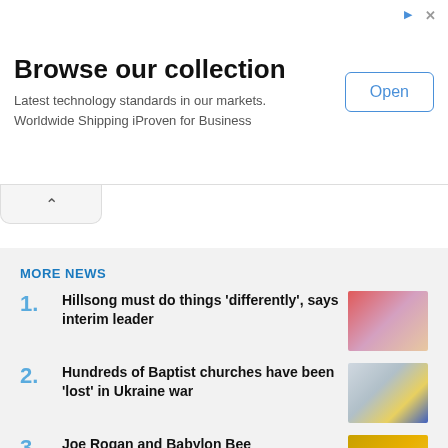[Figure (screenshot): Advertisement banner: 'Browse our collection' with Open button]
Browse our collection
Latest technology standards in our markets.
Worldwide Shipping iProven for Business
MORE NEWS
1. Hillsong must do things 'differently', says interim leader
2. Hundreds of Baptist churches have been 'lost' in Ukraine war
3. Joe Rogan and Babylon Bee